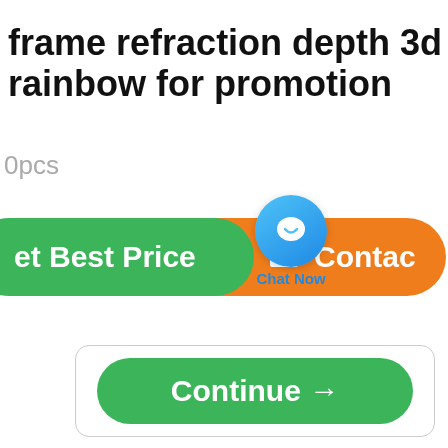frame refraction depth 3d fireworks rainbow for promotion
0pcs
[Figure (screenshot): E-commerce product page UI showing a green 'Get Best Price' button, an orange 'Contact' button, a blue 'Chat Now' chat bubble overlay, and a green 'Continue →' button inside a rounded rectangle box]
Get Best Price
Contact
Chat Now
Continue →